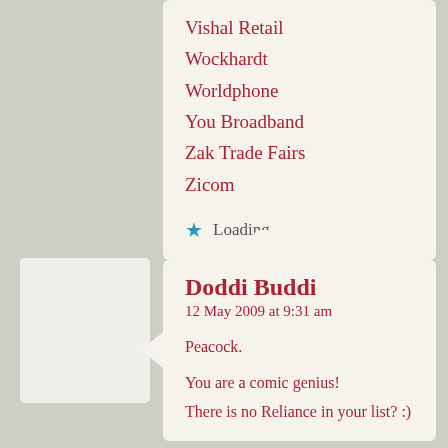Vishal Retail
Wockhardt
Worldphone
You Broadband
Zak Trade Fairs
Zicom
★ Loading...
Doddi Buddi
12 May 2009 at 9:31 am

Peacock.

You are a comic genius!
There is no Reliance in your list? :)